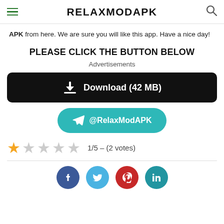RELAXMODAPK
APK from here. We are sure you will like this app. Have a nice day!
PLEASE CLICK THE BUTTON BELOW
Advertisements
[Figure (other): Black download button with download icon and text 'Download (42 MB)']
[Figure (other): Teal Telegram button with paper plane icon and text '@RelaxModAPK']
[Figure (other): Star rating: 1 filled star and 4 empty stars, with text '1/5 – (2 votes)']
[Figure (other): Social media icons row: Facebook (blue), Twitter (light blue), Pinterest (red), LinkedIn (teal)]